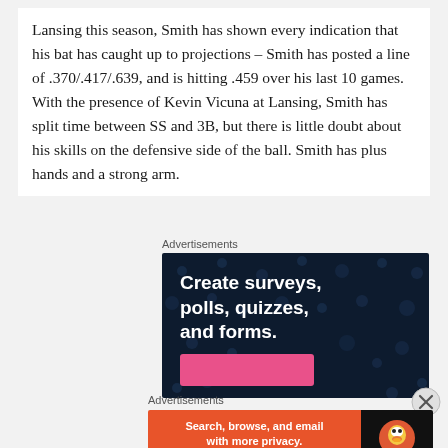Lansing this season, Smith has shown every indication that his bat has caught up to projections – Smith has posted a line of .370/.417/.639, and is hitting .459 over his last 10 games.  With the presence of Kevin Vicuna at Lansing, Smith has split time between SS and 3B, but there is little doubt about his skills on the defensive side of the ball. Smith has plus hands and a strong arm.
Advertisements
[Figure (infographic): Dark navy blue advertisement banner with dot pattern background. Large white bold text reads: Create surveys, polls, quizzes, and forms. Pink/magenta button at bottom left.]
Advertisements
[Figure (infographic): DuckDuckGo advertisement banner. Orange/red left section with white bold text: Search, browse, and email with more privacy. White rounded button: All in One Free App. Black right section with DuckDuckGo duck logo and DuckDuckGo text.]